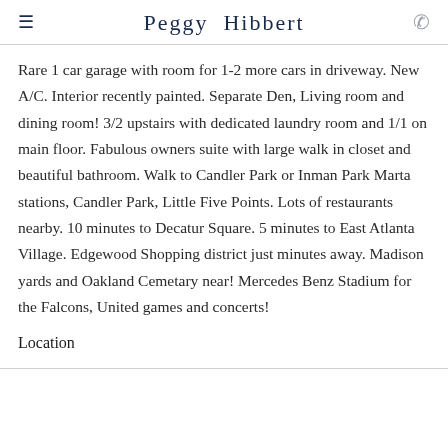Peggy Hibbert
Rare 1 car garage with room for 1-2 more cars in driveway. New A/C. Interior recently painted. Separate Den, Living room and dining room! 3/2 upstairs with dedicated laundry room and 1/1 on main floor. Fabulous owners suite with large walk in closet and beautiful bathroom. Walk to Candler Park or Inman Park Marta stations, Candler Park, Little Five Points. Lots of restaurants nearby. 10 minutes to Decatur Square. 5 minutes to East Atlanta Village. Edgewood Shopping district just minutes away. Madison yards and Oakland Cemetary near! Mercedes Benz Stadium for the Falcons, United games and concerts!
Location